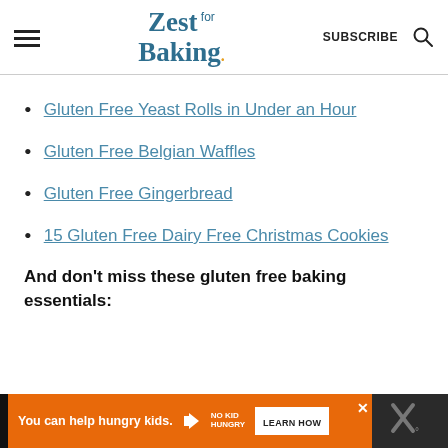Zest for Baking — SUBSCRIBE
Gluten Free Yeast Rolls in Under an Hour
Gluten Free Belgian Waffles
Gluten Free Gingerbread
15 Gluten Free Dairy Free Christmas Cookies
And don't miss these gluten free baking essentials:
[Figure (screenshot): Advertisement bar: 'You can help hungry kids. No Kid Hungry. LEARN HOW']